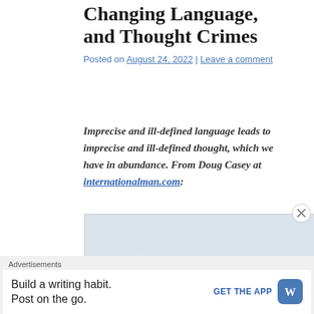Changing Language, and Thought Crimes
Posted on August 24, 2022 | Leave a comment
Imprecise and ill-defined language leads to imprecise and ill-defined thought, which we have in abundance. From Doug Casey at internationalman.com:
[Figure (photo): Light blue-gray textured background image, mostly blank]
Advertisements
Build a writing habit. Post on the go. GET THE APP [WordPress logo]